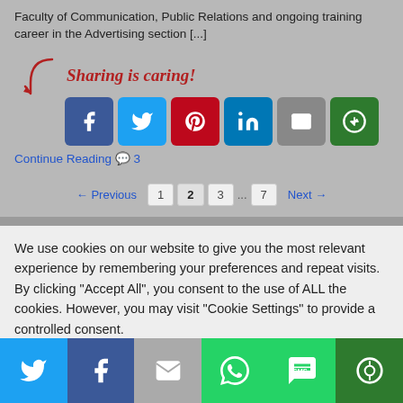Faculty of Communication, Public Relations and ongoing training career in the Advertising section [...]
[Figure (infographic): Sharing is caring! with social share buttons: Facebook, Twitter, Pinterest, LinkedIn, Email, and a green share button]
Continue Reading 💬 3
← Previous  1  2  3  ...  7  Next →
We use cookies on our website to give you the most relevant experience by remembering your preferences and repeat visits. By clicking "Accept All", you consent to the use of ALL the cookies. However, you may visit "Cookie Settings" to provide a controlled consent.
[Figure (infographic): Bottom share bar with Twitter, Facebook, Email, WhatsApp, SMS, and green share buttons]